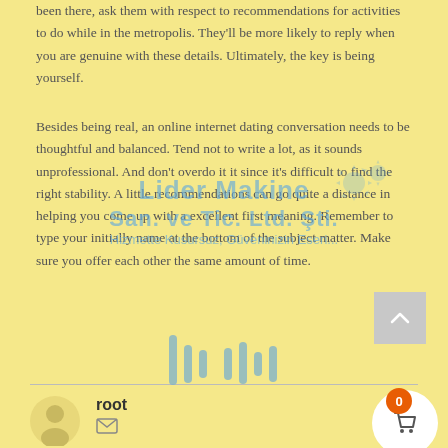been there, ask them with respect to recommendations for activities to do while in the metropolis. They'll be more likely to reply when you are genuine with these details. Ultimately, the key is being yourself.
Besides being real, an online internet dating conversation needs to be thoughtful and balanced. Tend not to write a lot, as it sounds unprofessional. And don't overdo it it since it's difficult to find the right stability. A little recommendations can go quite a distance in helping you come up with a excellent first meaning. Remember to type your initially name at the bottom of the subject matter. Make sure you offer each other the same amount of time.
[Figure (other): Watermark overlay: Lider Makine San. ve Tic. Ltd. Sti. with gear icons]
[Figure (other): Audio waveform bars icon in blue-grey]
root
[Figure (other): Email/envelope icon]